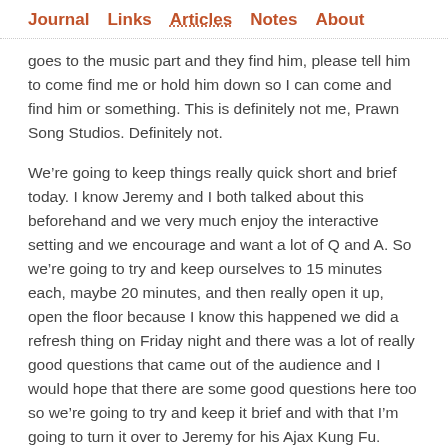Journal   Links   Articles   Notes   About
goes to the music part and they find him, please tell him to come find me or hold him down so I can come and find him or something. This is definitely not me, Prawn Song Studios. Definitely not.
We’re going to keep things really quick short and brief today. I know Jeremy and I both talked about this beforehand and we very much enjoy the interactive setting and we encourage and want a lot of Q and A. So we’re going to try and keep ourselves to 15 minutes each, maybe 20 minutes, and then really open it up, open the floor because I know this happened we did a refresh thing on Friday night and there was a lot of really good questions that came out of the audience and I would hope that there are some good questions here too so we’re going to try and keep it brief and with that I’m going to turn it over to Jeremy for his Ajax Kung Fu.